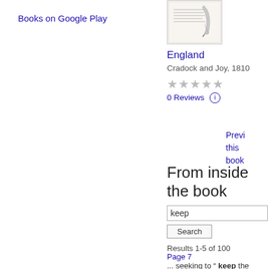Books on Google Play
[Figure (illustration): Book cover thumbnail showing a partial image of a historical document or book page with a quill/pen illustration]
England
Cradock and Joy, 1810
★★★★★ (empty stars)
0 Reviews ⓘ
Preview this book
From inside the book
keep
Search
Results 1-5 of 100
Page 7
... seeking to " keep the happy mean between too much stiffness in